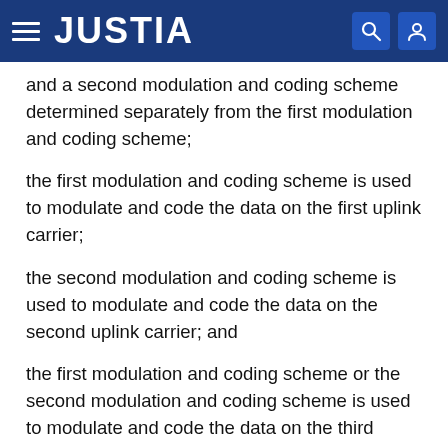JUSTIA
and a second modulation and coding scheme determined separately from the first modulation and coding scheme;
the first modulation and coding scheme is used to modulate and code the data on the first uplink carrier;
the second modulation and coding scheme is used to modulate and code the data on the second uplink carrier; and
the first modulation and coding scheme or the second modulation and coding scheme is used to modulate and code the data on the third uplink carrier.
16. A method for wireless communication, comprising: